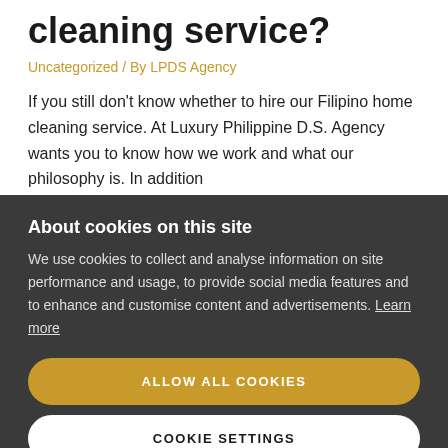cleaning service?
Uncategorized / By LPDS Agency
If you still don't know whether to hire our Filipino home cleaning service. At Luxury Philippine D.S. Agency wants you to know how we work and what our philosophy is. In addition
About cookies on this site
We use cookies to collect and analyse information on site performance and usage, to provide social media features and to enhance and customise content and advertisements. Learn more
ALLOW ALL COOKIES
COOKIE SETTINGS